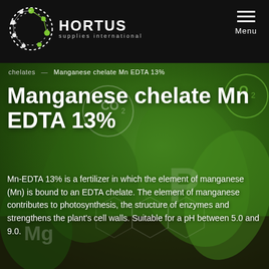[Figure (logo): Hortus Supplies International logo — white dotted globe with green molecule nodes, white text 'HORTUS' and smaller 'supplies international' below]
Menu
chelates — Manganese chelate Mn EDTA 13%
Manganese chelate Mn EDTA 13%
Mn-EDTA 13% is a fertilizer in which the element of manganese (Mn) is bound to an EDTA chelate. The element of manganese contributes to photosynthesis, the structure of enzymes and strengthens the plant's cell walls. Suitable for a pH between 5.0 and 9.0.